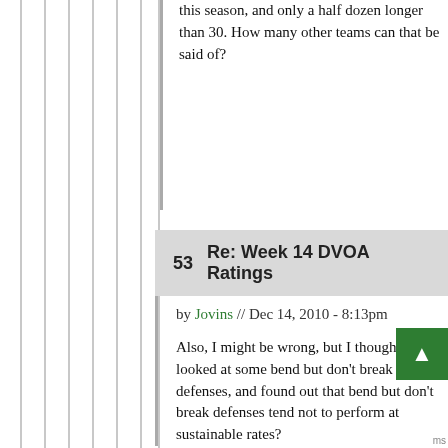this season, and only a half dozen longer than 30. How many other teams can that be said of?
53   Re: Week 14 DVOA Ratings
by Jovins // Dec 14, 2010 - 8:13pm
Also, I might be wrong, but I thought FO looked at some bend but don't break defenses, and found out that bend but don't break defenses tend not to perform at sustainable rates?